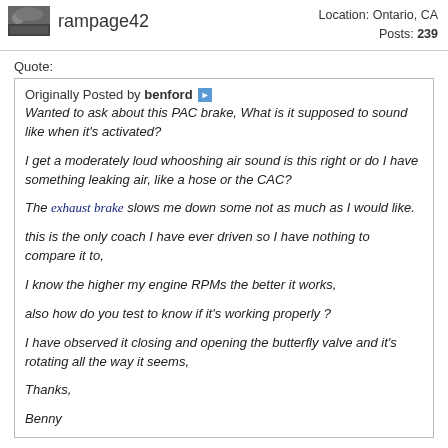rampage42  Location: Ontario, CA  Posts: 239
Quote:
Originally Posted by benford
Wanted to ask about this PAC brake, What is it supposed to sound like when it's activated?

I get a moderately loud whooshing air sound is this right or do I have something leaking air, like a hose or the CAC?

The exhaust brake slows me down some not as much as I would like.

this is the only coach I have ever driven so I have nothing to compare it to,

I know the higher my engine RPMs the better it works,

also how do you test to know if it's working properly ?

I have observed it closing and opening the butterfly valve and it's rotating all the way it seems,

Thanks,

Benny